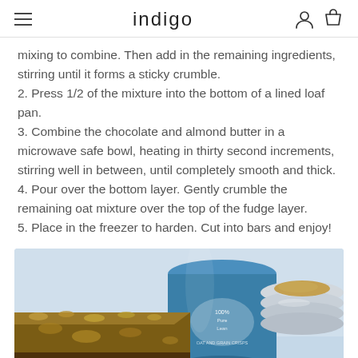indigo
mixing to combine. Then add in the remaining ingredients, stirring until it forms a sticky crumble.
2. Press 1/2 of the mixture into the bottom of a lined loaf pan.
3. Combine the chocolate and almond butter in a microwave safe bowl, heating in thirty second increments, stirring well in between, until completely smooth and thick.
4. Pour over the bottom layer. Gently crumble the remaining oat mixture over the top of the fudge layer.
5. Place in the freezer to harden. Cut into bars and enjoy!
[Figure (photo): Photo of chocolate almond oat fudge bars with a blue cylindrical container and stacked bowls in the background on a light blue surface]